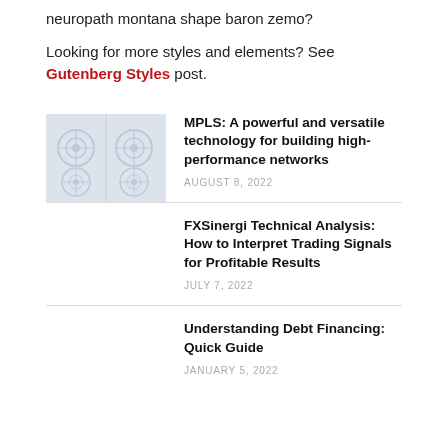neuropath montana shape baron zemo?
Looking for more styles and elements? See Gutenberg Styles post.
MPLS: A powerful and versatile technology for building high-performance networks
AUGUST 8, 2022
FXSinergi Technical Analysis: How to Interpret Trading Signals for Profitable Results
JULY 7, 2022
Understanding Debt Financing: Quick Guide
JANUARY 5, 2022